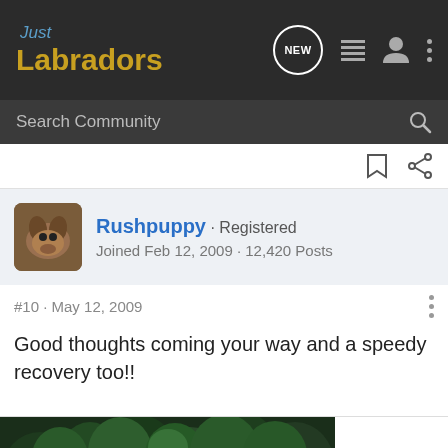Just Labradors
Search Community
Rushpuppy · Registered
Joined Feb 12, 2009 · 12,420 Posts
#10 · May 12, 2009
Good thoughts coming your way and a speedy recovery too!!
[Figure (photo): Forest/trees photo at bottom of page]